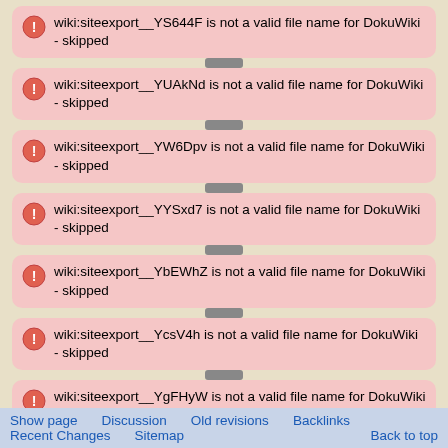wiki:siteexport__YS644F is not a valid file name for DokuWiki - skipped
wiki:siteexport__YUAkNd is not a valid file name for DokuWiki - skipped
wiki:siteexport__YW6Dpv is not a valid file name for DokuWiki - skipped
wiki:siteexport__YYSxd7 is not a valid file name for DokuWiki - skipped
wiki:siteexport__YbEWhZ is not a valid file name for DokuWiki - skipped
wiki:siteexport__YcsV4h is not a valid file name for DokuWiki - skipped
wiki:siteexport__YgFHyW is not a valid file name for DokuWiki - skipped
wiki:siteexport__YklBo... is not a valid file name for DokuWiki
Show page   Discussion   Old revisions   Backlinks
Recent Changes   Sitemap   Back to top